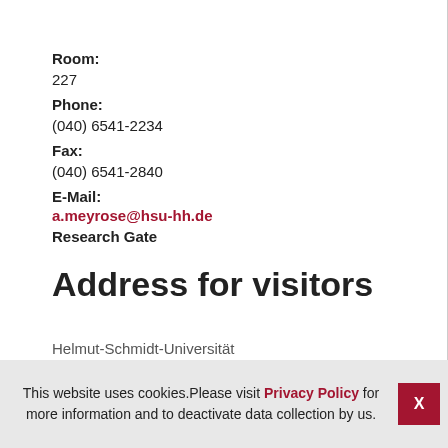Room:
227
Phone:
(040) 6541-2234
Fax:
(040) 6541-2840
E-Mail:
a.meyrose@hsu-hh.de
Research Gate
Address for visitors
Helmut-Schmidt-Universität
This website uses cookies.Please visit Privacy Policy for more information and to deactivate data collection by us.